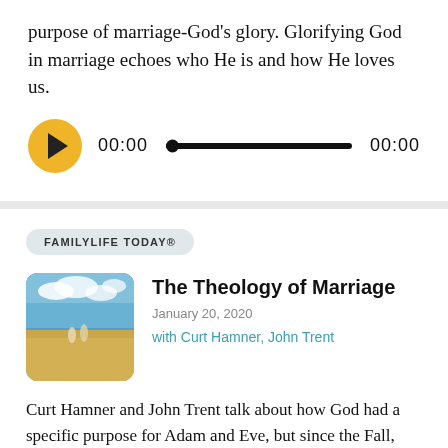purpose of marriage-God's glory. Glorifying God in marriage echoes who He is and how He loves us.
[Figure (other): Audio player with yellow play button, time display 00:00, progress bar, and end time 00:00]
FAMILYLIFE TODAY®
[Figure (photo): Outdoor photo of a couple in a wheat field with blue sky and clouds, rounded corners]
The Theology of Marriage
January 20, 2020
with Curt Hamner, John Trent
Curt Hamner and John Trent talk about how God had a specific purpose for Adam and Eve, but since the Fall, marriages have been in trouble. Together they explain that, even during difficulty, marriage is still